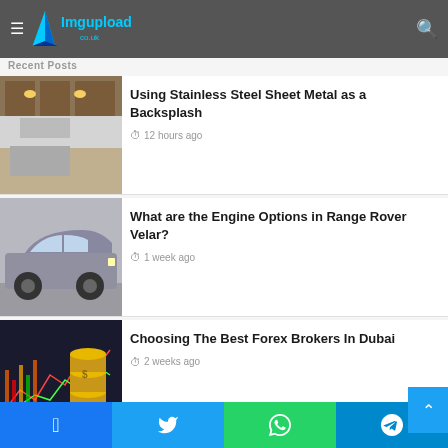Imgupload.co.uk - Recent Posts
Using Stainless Steel Sheet Metal as a Backsplash
12 hours ago
What are the Engine Options in Range Rover Velar?
1 week ago
Choosing The Best Forex Brokers In Dubai
2 weeks ago
Free credits increase your chances of winning the slots jackpot money
June 30, 2022